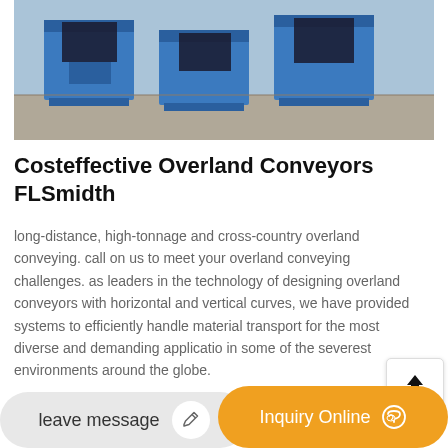[Figure (photo): Blue industrial overland conveyor equipment units photographed outdoors on concrete.]
Costeffective Overland Conveyors FLSmidth
long-distance, high-tonnage and cross-country overland conveying. call on us to meet your overland conveying challenges. as leaders in the technology of designing overland conveyors with horizontal and vertical curves, we have provided systems to efficiently handle material transport for the most diverse and demanding applications in some of the severest environments around the globe.
leave message | Inquiry Online